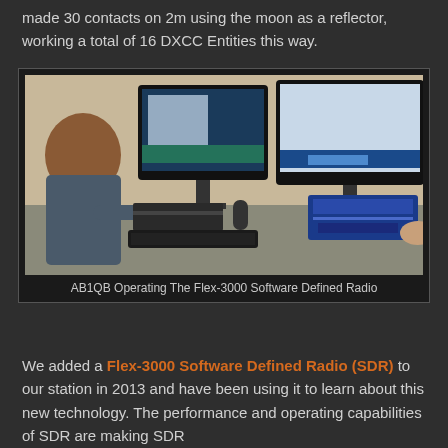made 30 contacts on 2m using the moon as a reflector, working a total of 16 DXCC Entities this way.
[Figure (photo): A person (AB1QB) sitting at a ham radio station operating desk with two large monitors displaying radio software, various radio equipment, keyboards, and a blue Flex-3000 Software Defined Radio on the right side.]
AB1QB Operating The Flex-3000 Software Defined Radio
We added a Flex-3000 Software Defined Radio (SDR) to our station in 2013 and have been using it to learn about this new technology. The performance and operating capabilities of SDR are making SDR